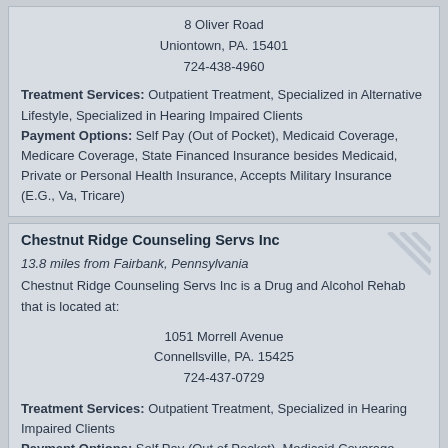8 Oliver Road
Uniontown, PA. 15401
724-438-4960
Treatment Services: Outpatient Treatment, Specialized in Alternative Lifestyle, Specialized in Hearing Impaired Clients
Payment Options: Self Pay (Out of Pocket), Medicaid Coverage, Medicare Coverage, State Financed Insurance besides Medicaid, Private or Personal Health Insurance, Accepts Military Insurance (E.G., Va, Tricare)
Chestnut Ridge Counseling Servs Inc
13.8 miles from Fairbank, Pennsylvania
Chestnut Ridge Counseling Servs Inc is a Drug and Alcohol Rehab that is located at:
1051 Morrell Avenue
Connellsville, PA. 15425
724-437-0729
Treatment Services: Outpatient Treatment, Specialized in Hearing Impaired Clients
Payment Options: Self Pay (Out of Pocket), Medicaid Coverage, Medicare Coverage, State Financed Insurance besides Medicaid, Private or Personal Health Insurance, Accepts Military Insurance (E.G., Va, Tricare)
Stern Center for Developmental and...